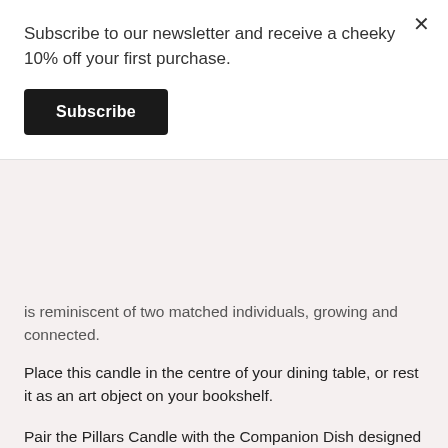Subscribe to our newsletter and receive a cheeky 10% off your first purchase.
Subscribe
is reminiscent of two matched individuals, growing and connected.
Place this candle in the centre of your dining table, or rest it as an art object on your bookshelf.
Pair the Pillars Candle with the Companion Dish designed and made by Highlow Jewelry. The art glass is cut and finished in Los Angeles.
Purchase the Pillars Candle on its own or pair with the Companion Dish for a special reduced price.
Pillars Candle Details: